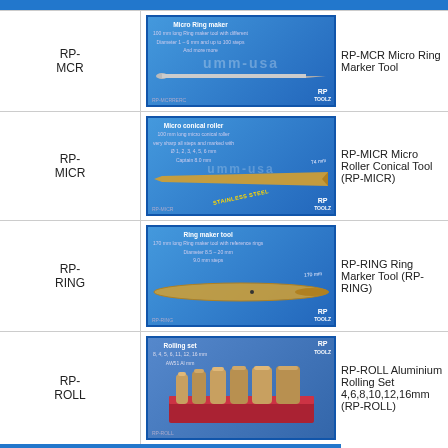[Figure (photo): RP-MCR Micro Ring Marker Tool product image on blue background]
RP-MCR
RP-MCR Micro Ring Marker Tool
[Figure (photo): RP-MICR Micro Roller Conical Tool product image on blue background with stainless steel needle]
RP-MICR
RP-MICR Micro Roller Conical Tool (RP-MICR)
[Figure (photo): RP-RING Ring Marker Tool product image on blue background]
RP-RING
RP-RING Ring Marker Tool (RP-RING)
[Figure (photo): RP-ROLL Aluminium Rolling Set product image showing cylindrical rollers on blue background]
RP-ROLL
RP-ROLL Aluminium Rolling Set 4,6,8,10,12,16mm (RP-ROLL)